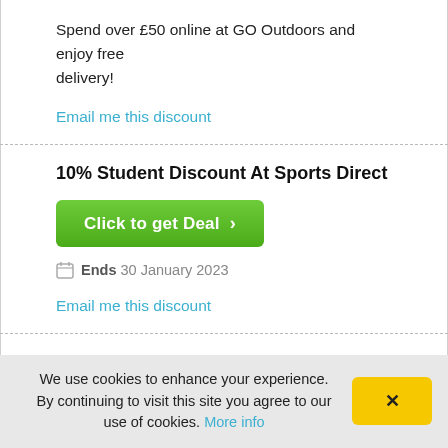Spend over £50 online at GO Outdoors and enjoy free delivery!
Email me this discount
10% Student Discount At Sports Direct
Click to get Deal >
Ends 30 January 2023
Email me this discount
£10 Off Your First Orvis Purchase Over £50
We use cookies to enhance your experience. By continuing to visit this site you agree to our use of cookies. More info